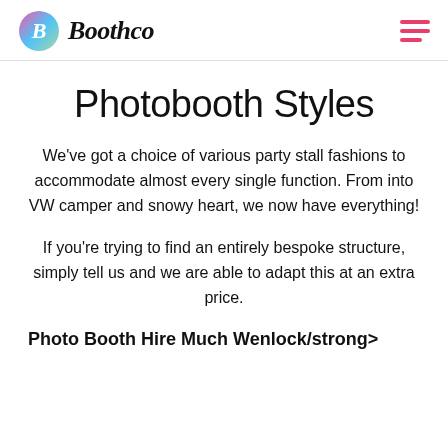[Figure (logo): Boothco logo with colorful circular icon and italic bold text 'Boothco']
Photobooth Styles
We've got a choice of various party stall fashions to accommodate almost every single function. From into VW camper and snowy heart, we now have everything!
If you're trying to find an entirely bespoke structure, simply tell us and we are able to adapt this at an extra price.
Photo Booth Hire Much Wenlock/strong>